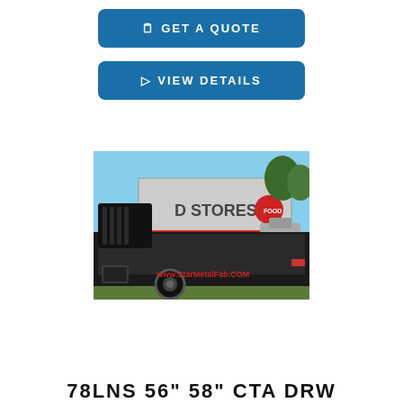GET A QUOTE
VIEW DETAILS
[Figure (photo): Black flatbed truck bed on grass with 'D STORES' truck visible in background and www.StarMetalFab.COM watermark]
78LNS 56" 58" CTA DRW